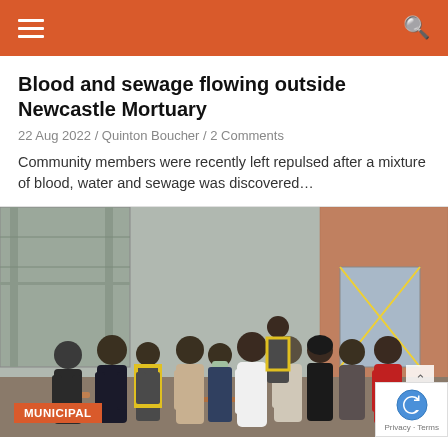Navigation bar with hamburger menu and search icon
Blood and sewage flowing outside Newcastle Mortuary
22 Aug 2022 / Quinton Boucher / 2 Comments
Community members were recently left repulsed after a mixture of blood, water and sewage was discovered…
[Figure (photo): Group of people standing outside a building under construction, including officials and workers in high-visibility vests. A red MUNICIPAL badge overlay is visible at the bottom left, and a reCAPTCHA badge at the bottom right.]